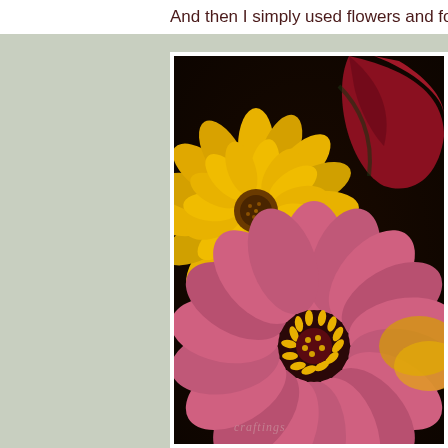And then I simply used flowers and foliage still standin
[Figure (photo): Close-up photograph of flowers: a bright yellow zinnia on the left and a pink/magenta zinnia with yellow stamens in the center-foreground, with a dark red flower petal in the upper right. Dark background. Faint watermark text visible in lower right corner.]